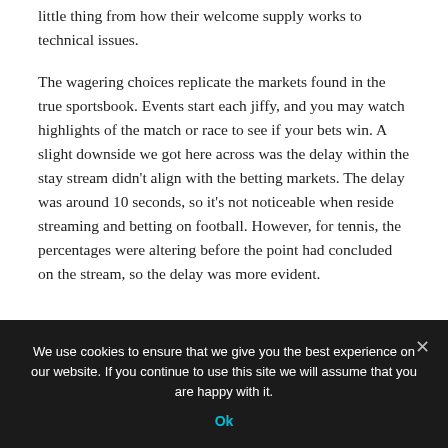little thing from how their welcome supply works to technical issues.
The wagering choices replicate the markets found in the true sportsbook. Events start each jiffy, and you may watch highlights of the match or race to see if your bets win. A slight downside we got here across was the delay within the stay stream didn't align with the betting markets. The delay was around 10 seconds, so it's not noticeable when reside streaming and betting on football. However, for tennis, the percentages were altering before the point had concluded on the stream, so the delay was more evident.
We use cookies to ensure that we give you the best experience on our website. If you continue to use this site we will assume that you are happy with it.
Ok